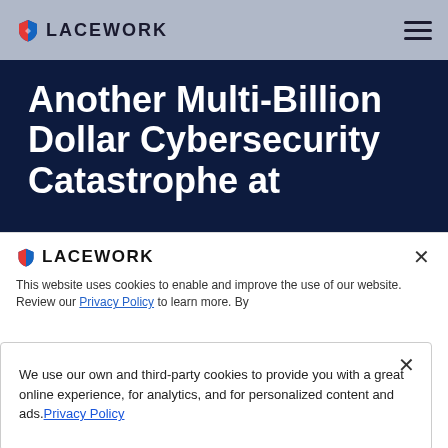LACEWORK
Another Multi-Billion Dollar Cybersecurity Catastrophe at
[Figure (logo): Lacework shield logo with LACEWORK text in cookie banner]
This website uses cookies to enable and improve the use of our website. Review our Privacy Policy to learn more. By
We use our own and third-party cookies to provide you with a great online experience, for analytics, and for personalized content and ads. Privacy Policy